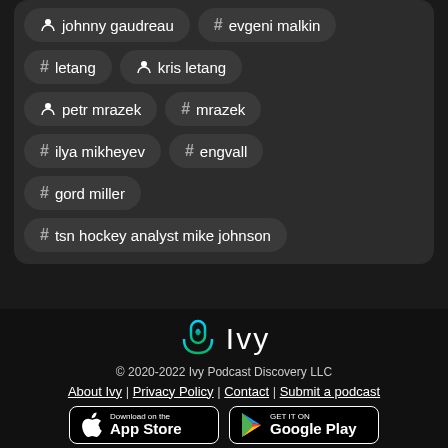# johnny gaudreau
# evgeni malkin
# letang
person kris letang
person petr mrazek
# mrazek
# ilya mikheyev
# engvall
# gord miller
# tsn hockey analyst mike johnson
[Figure (logo): Ivy Podcast Discovery logo with microphone icon and text 'Ivy']
© 2020-2022 Ivy Podcast Discovery LLC
About Ivy | Privacy Policy | Contact | Submit a podcast
[Figure (other): Download on the App Store button and Get it on Google Play button]